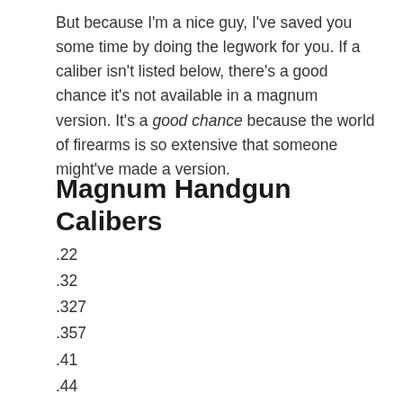But because I'm a nice guy, I've saved you some time by doing the legwork for you. If a caliber isn't listed below, there's a good chance it's not available in a magnum version. It's a good chance because the world of firearms is so extensive that someone might've made a version.
Magnum Handgun Calibers
.22
.32
.327
.357
.41
.44
.445
.45